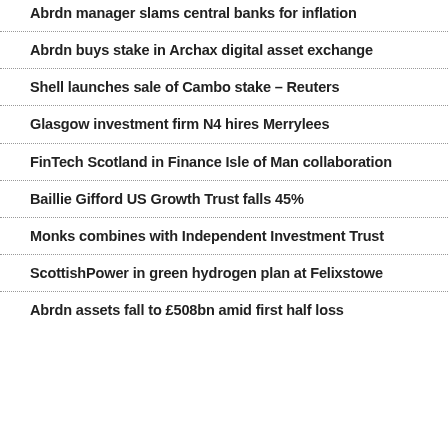Abrdn manager slams central banks for inflation
Abrdn buys stake in Archax digital asset exchange
Shell launches sale of Cambo stake – Reuters
Glasgow investment firm N4 hires Merrylees
FinTech Scotland in Finance Isle of Man collaboration
Baillie Gifford US Growth Trust falls 45%
Monks combines with Independent Investment Trust
ScottishPower in green hydrogen plan at Felixstowe
Abrdn assets fall to £508bn amid first half loss